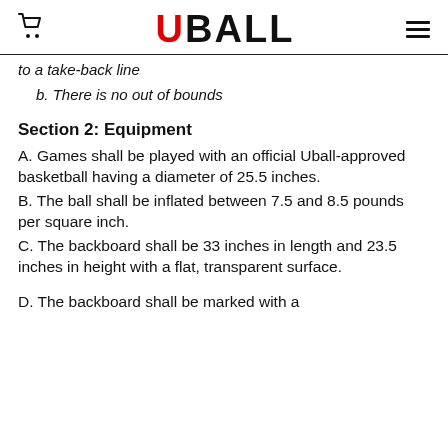UBALL
to a take-back line
b. There is no out of bounds
Section 2: Equipment
A. Games shall be played with an official Uball-approved basketball having a diameter of 25.5 inches.
B. The ball shall be inflated between 7.5 and 8.5 pounds per square inch.
C. The backboard shall be 33 inches in length and 23.5 inches in height with a flat, transparent surface.
D. The backboard shall be marked with a